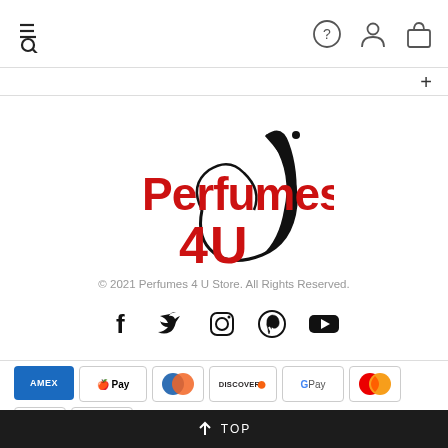Navigation header with menu/search icons and help, user, cart icons
[Figure (logo): Perfumes 4 U store logo with red text and black drop shape]
© 2021 Perfumes 4 U Store. All Rights Reserved.
[Figure (infographic): Social media icons: Facebook, Twitter, Instagram, Pinterest, YouTube]
[Figure (infographic): Payment method badges: AMEX, Apple Pay, Diners Club, Discover, Google Pay, Mastercard, PayPal, VISA]
↑ TOP